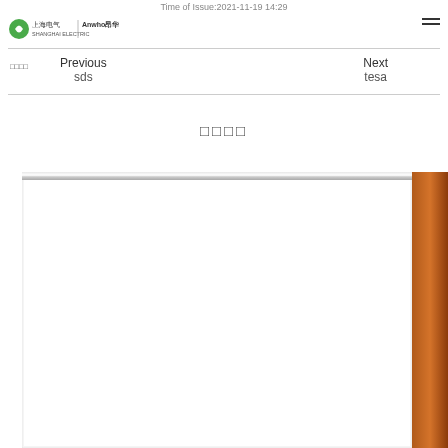Time of Issue:2021-11-19 14:29
[Figure (logo): Shanghai Electric and Anwho company logos]
□□□□
Previous
sds
Next
tesa
□□□□
[Figure (photo): A white panel or board with a metallic top edge and a brown wooden right side frame, photographed from the front.]